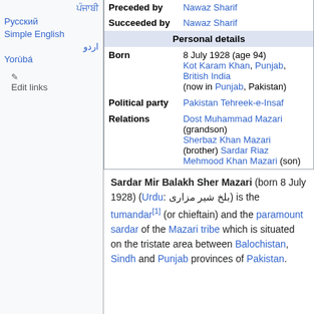ਪੰਜਾਬੀ
Русский
Simple English
اردو
Yorùbá
✎ Edit links
| Preceded by | Nawaz Sharif |
| Succeeded by | Nawaz Sharif |
| Personal details |  |
| Born | 8 July 1928 (age 94)
Kot Karam Khan, Punjab, British India
(now in Punjab, Pakistan) |
| Political party | Pakistan Tehreek-e-Insaf |
| Relations | Dost Muhammad Mazari (grandson)
Sherbaz Khan Mazari
(brother) Sardar Riaz Mehmood Khan Mazari (son) |
Sardar Mir Balakh Sher Mazari (born 8 July 1928) (Urdu: بلخ شیر مزاری) is the tumandar[1] (or chieftain) and the paramount sardar of the Mazari tribe which is situated on the tristate area between Balochistan, Sindh and Punjab provinces of Pakistan.